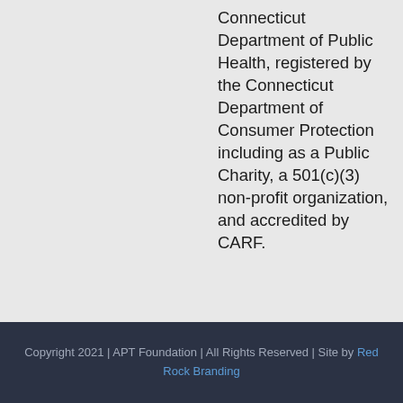Connecticut Department of Public Health, registered by the Connecticut Department of Consumer Protection including as a Public Charity, a 501(c)(3) non-profit organization, and accredited by CARF.
Copyright 2021 | APT Foundation | All Rights Reserved | Site by Red Rock Branding